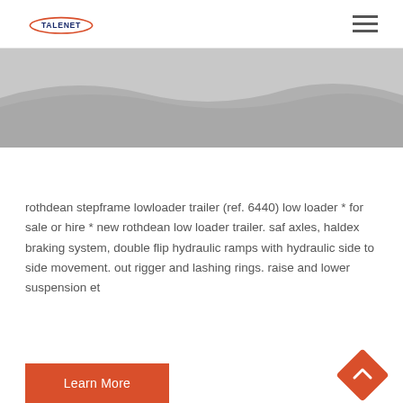TALENET
[Figure (photo): Partial image of a lowloader trailer in gray tones, showing a wave-like silhouette of the trailer bed against a light background.]
rothdean stepframe lowloader trailer (ref. 6440) low loader * for sale or hire * new rothdean low loader trailer. saf axles, haldex braking system, double flip hydraulic ramps with hydraulic side to side movement. out rigger and lashing rings. raise and lower suspension et
[Figure (other): Orange 'Learn More' button]